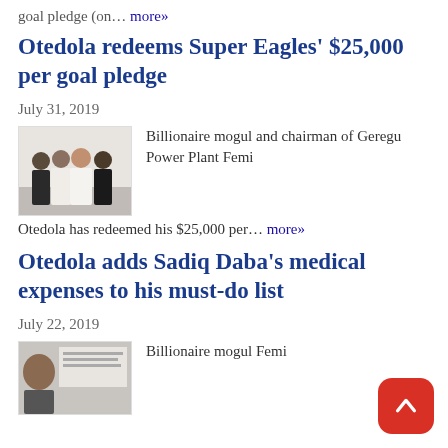goal pledge (on... more»
Otedola redeems Super Eagles' $25,000 per goal pledge
July 31, 2019
[Figure (photo): Photo of three men standing together, likely Femi Otedola and others, indoors]
Billionaire mogul and chairman of Geregu Power Plant Femi Otedola has redeemed his $25,000 per... more»
Otedola adds Sadiq Daba's medical expenses to his must-do list
July 22, 2019
[Figure (photo): Partial photo showing a person, likely Femi Otedola, with text in background]
Billionaire mogul Femi